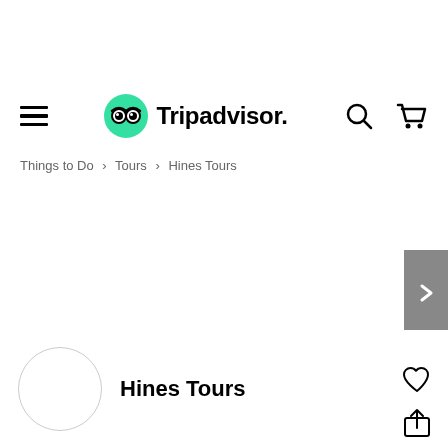Tripadvisor
Things to Do > Tours > Hines Tours
[Figure (other): Carousel image area with right arrow navigation button]
[Figure (other): Circular avatar/logo placeholder for Hines Tours]
Hines Tours
[Figure (other): Heart (favorite) icon and share icon on right side]